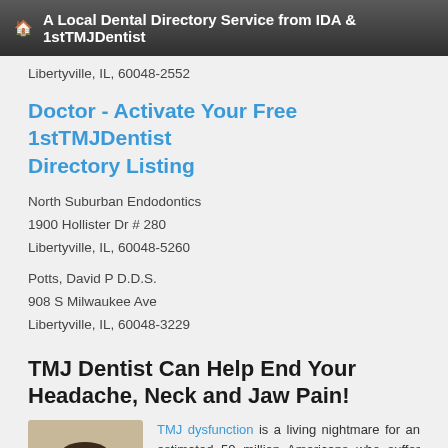A Local Dental Directory Service from IDA & 1stTMJDentist
Libertyville, IL, 60048-2552
Doctor - Activate Your Free 1stTMJDentist Directory Listing
North Suburban Endodontics
1900 Hollister Dr # 280
Libertyville, IL, 60048-5260
Potts, David P D.D.S.
908 S Milwaukee Ave
Libertyville, IL, 60048-3229
TMJ Dentist Can Help End Your Headache, Neck and Jaw Pain!
[Figure (photo): Photo of a smiling young man]
TMJ dysfunction is a living nightmare for an estimated 50 million Americans who suffer from this distress. And the fact that many dentists and physicians fail to diagnose this disorder means that